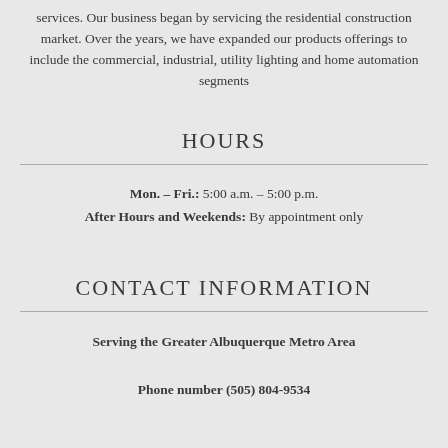services. Our business began by servicing the residential construction market. Over the years, we have expanded our products offerings to include the commercial, industrial, utility lighting and home automation segments
HOURS
Mon. – Fri.: 5:00 a.m. – 5:00 p.m.
After Hours and Weekends: By appointment only
CONTACT INFORMATION
Serving the Greater Albuquerque Metro Area
Phone number (505) 804-9534
POPULAR PAGES